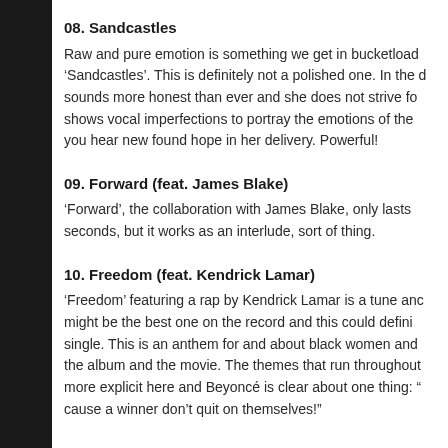08. Sandcastles
Raw and pure emotion is something we get in bucketload with ‘Sandcastles’. This is definitely not a polished one. In the d sounds more honest than ever and she does not strive fo shows vocal imperfections to portray the emotions of the you hear new found hope in her delivery. Powerful!
09. Forward (feat. James Blake)
‘Forward’, the collaboration with James Blake, only lasts seconds, but it works as an interlude, sort of thing.
10. Freedom (feat. Kendrick Lamar)
‘Freedom’ featuring a rap by Kendrick Lamar is a tune anc might be the best one on the record and this could defini single. This is an anthem for and about black women and the album and the movie. The themes that run throughout more explicit here and Beyoncé is clear about one thing: “ cause a winner don’t quit on themselves!”